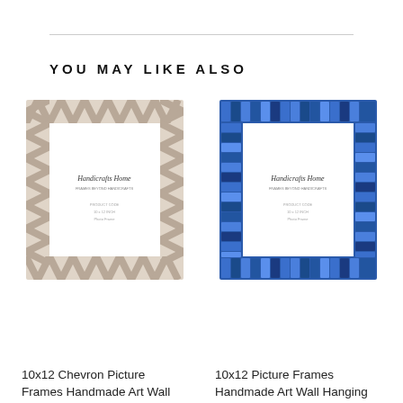YOU MAY LIKE ALSO
[Figure (photo): 10x12 Chevron Picture Frame with white/beige chevron patterned border, showing Handicrafts Home display card inside]
[Figure (photo): 10x12 Picture Frame with blue mosaic/tile patterned border, showing Handicrafts Home display card inside]
10x12 Chevron Picture Frames Handmade Art Wall Hanging
$28.99
10x12 Picture Frames Handmade Art Wall Hanging
$28.99